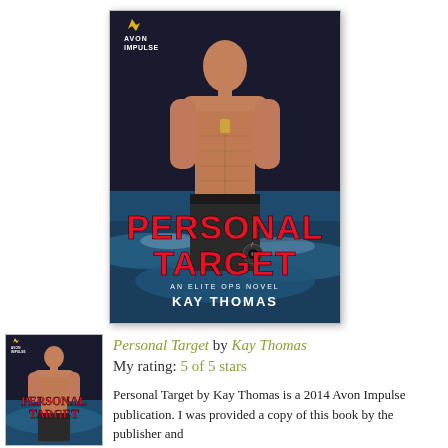[Figure (photo): Book cover of 'Personal Target: An Elite Ops Novel' by Kay Thomas, published by Avon Impulse. Shows a muscular shirtless man standing near ocean waves. Title text in large red letters at bottom. Avon Impulse logo and flame icon in top-left corner.]
[Figure (photo): Smaller thumbnail of the same book cover for Personal Target by Kay Thomas.]
Personal Target by Kay Thomas
My rating: 5 of 5 stars

Personal Target by Kay Thomas is a 2014 Avon Impulse publication. I was provided a copy of this book by the publisher and